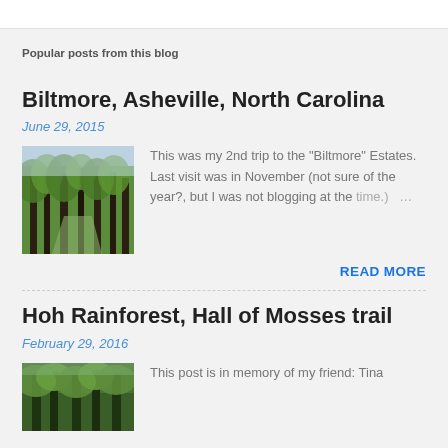Popular posts from this blog
Biltmore, Asheville, North Carolina
June 29, 2015
[Figure (photo): Forest path with tall green trees and sunlight filtering through.]
This was my 2nd trip to the "Biltmore" Estates. Last visit was in November (not sure of the year?, but I was not blogging at the time.)  …
READ MORE
Hoh Rainforest, Hall of Mosses trail
February 29, 2016
[Figure (photo): Rainforest with green mossy trees.]
This post is in memory of my friend: Tina